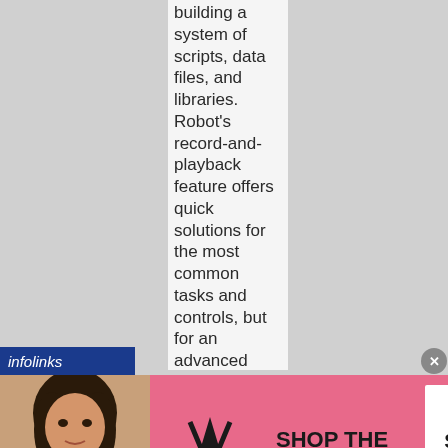building a system of scripts, data files, and libraries. Robot's record-and-playback feature offers quick solutions for the most common tasks and controls, but for an advanced level of testing or for any custom controls, you'll need to be able to write your own code in
[Figure (screenshot): infolinks advertisement bar and Victoria's Secret banner ad with model, VS logo, 'SHOP THE COLLECTION' text, and 'SHOP NOW' button]